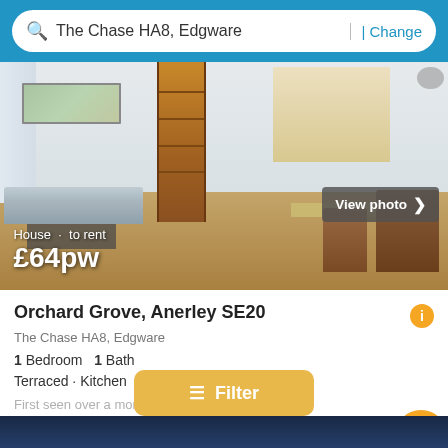The Chase HA8, Edgware | Change
[Figure (photo): Interior photo of a house showing living room with sofa, bookcase, coffee table, and open kitchen/dining area in background]
House · to rent £64pw
Orchard Grove, Anerley SE20
The Chase HA8, Edgware
1 Bedroom  1 Bath
Terraced · Kitchen
First seen over a month ago on Eazyawisi
View details
Filter